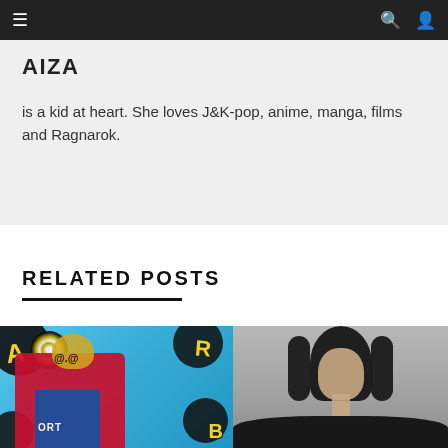navigation bar with menu, search and user icons
AIZA
is a kid at heart. She loves J&K-pop, anime, manga, films and Ragnarok.
RELATED POSTS
[Figure (photo): K-pop artist in red jacket with cartoon-style pop art background featuring letters A, R, B and text ORT]
[Figure (photo): Person with long dark hair against grey background, wearing dark clothing]